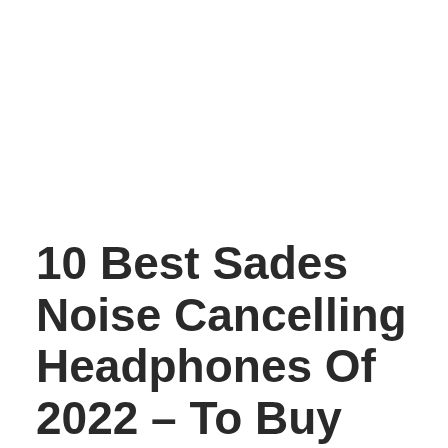10 Best Sades Noise Cancelling Headphones Of 2022 – To Buy Online
January 1, 2022 by Zaraki Kenpachi
What is the best sades noise cancelling